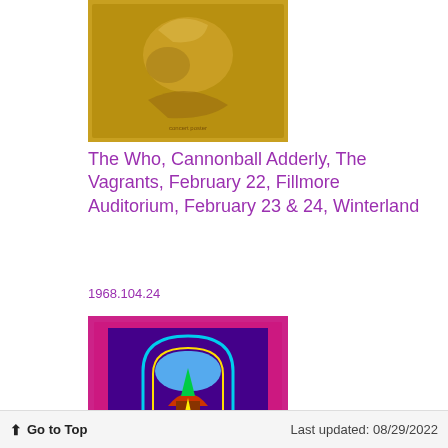[Figure (photo): Concert poster with golden/yellow tones showing The Who, Cannonball Adderly, The Vagrants]
The Who, Cannonball Adderly, The Vagrants, February 22, Fillmore Auditorium, February 23 & 24, Winterland
1968.104.24
[Figure (photo): Concert poster with magenta/pink background and colorful arch/doorway design]
Go to Top   Last updated: 08/29/2022